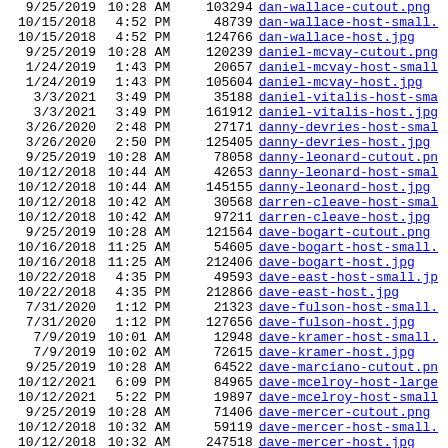| date | time | size | filename |
| --- | --- | --- | --- |
| 9/25/2019 | 10:28 AM | 103294 | dan-wallace-cutout.png |
| 10/15/2018 | 4:52 PM | 48739 | dan-wallace-host-small. |
| 10/15/2018 | 4:52 PM | 124766 | dan-wallace-host.jpg |
| 9/25/2019 | 10:28 AM | 120239 | daniel-mcvay-cutout.png |
| 1/24/2019 | 1:43 PM | 20657 | daniel-mcvay-host-small |
| 1/24/2019 | 1:43 PM | 105604 | daniel-mcvay-host.jpg |
| 3/3/2021 | 3:49 PM | 35188 | daniel-vitalis-host-sma |
| 3/3/2021 | 3:49 PM | 161912 | daniel-vitalis-host.jpg |
| 3/26/2020 | 2:48 PM | 27171 | danny-devries-host-smal |
| 3/26/2020 | 2:50 PM | 125405 | danny-devries-host.jpg |
| 9/25/2019 | 10:28 AM | 78058 | danny-leonard-cutout.png |
| 10/12/2018 | 10:44 AM | 42653 | danny-leonard-host-smal |
| 10/12/2018 | 10:44 AM | 145155 | danny-leonard-host.jpg |
| 10/12/2018 | 10:42 AM | 30568 | darren-cleave-host-smal |
| 10/12/2018 | 10:42 AM | 97211 | darren-cleave-host.jpg |
| 9/25/2019 | 10:28 AM | 121564 | dave-bogart-cutout.png |
| 10/16/2018 | 11:25 AM | 54605 | dave-bogart-host-small. |
| 10/16/2018 | 11:25 AM | 212406 | dave-bogart-host.jpg |
| 10/22/2018 | 4:35 PM | 49593 | dave-east-host-small.jp |
| 10/22/2018 | 4:35 PM | 212866 | dave-east-host.jpg |
| 7/31/2020 | 1:12 PM | 21323 | dave-fulson-host-small. |
| 7/31/2020 | 1:12 PM | 127656 | dave-fulson-host.jpg |
| 7/9/2019 | 10:01 AM | 12948 | dave-kramer-host-small. |
| 7/9/2019 | 10:02 AM | 72615 | dave-kramer-host.jpg |
| 9/25/2019 | 10:28 AM | 64522 | dave-marciano-cutout.pn |
| 10/12/2021 | 6:09 PM | 84965 | dave-mcelroy-host-large |
| 10/12/2021 | 5:22 PM | 19897 | dave-mcelroy-host-small |
| 9/25/2019 | 10:28 AM | 71406 | dave-mercer-cutout.png |
| 10/12/2018 | 10:32 AM | 59119 | dave-mercer-host-small. |
| 10/12/2018 | 10:32 AM | 247518 | dave-mercer-host.jpg |